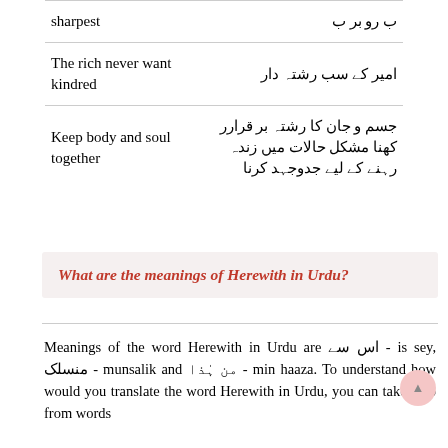| English | Urdu |
| --- | --- |
| sharpest | ب رو بر ب |
| The rich never want kindred | امیر کے سب رشتہ دار |
| Keep body and soul together | جسم و جان کا رشتہ بر قرارر کھنا مشکل حالات میں زندہ رہنے کے لیے جدوجہد کرنا |
What are the meanings of Herewith in Urdu?
Meanings of the word Herewith in Urdu are اس سے - is sey, منسلک - munsalik and من ہٰذا - min haaza. To understand how would you translate the word Herewith in Urdu, you can take help from words